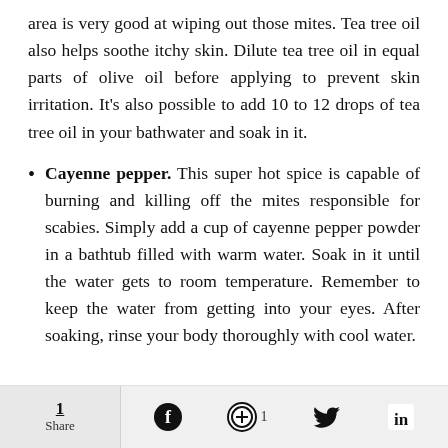area is very good at wiping out those mites. Tea tree oil also helps soothe itchy skin. Dilute tea tree oil in equal parts of olive oil before applying to prevent skin irritation. It’s also possible to add 10 to 12 drops of tea tree oil in your bathwater and soak in it.
Cayenne pepper. This super hot spice is capable of burning and killing off the mites responsible for scabies. Simply add a cup of cayenne pepper powder in a bathtub filled with warm water. Soak in it until the water gets to room temperature. Remember to keep the water from getting into your eyes. After soaking, rinse your body thoroughly with cool water.
1 Share | Facebook | Pinterest 1 | Twitter | LinkedIn